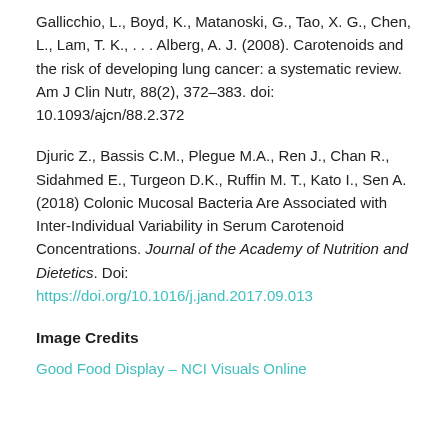Gallicchio, L., Boyd, K., Matanoski, G., Tao, X. G., Chen, L., Lam, T. K., . . . Alberg, A. J. (2008). Carotenoids and the risk of developing lung cancer: a systematic review. Am J Clin Nutr, 88(2), 372–383. doi: 10.1093/ajcn/88.2.372
Djuric Z., Bassis C.M., Plegue M.A., Ren J., Chan R., Sidahmed E., Turgeon D.K., Ruffin M. T., Kato I., Sen A. (2018) Colonic Mucosal Bacteria Are Associated with Inter-Individual Variability in Serum Carotenoid Concentrations. Journal of the Academy of Nutrition and Dietetics. Doi: https://doi.org/10.1016/j.jand.2017.09.013
Image Credits
Good Food Display – NCI Visuals Online